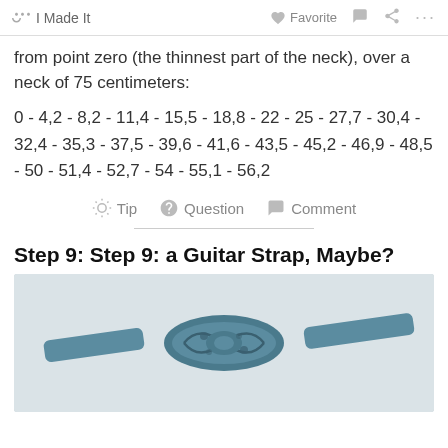✋ I Made It   ♡ Favorite   💬   ⋖   ···
from point zero (the thinnest part of the neck), over a neck of 75 centimeters:
0 - 4,2 - 8,2 - 11,4 - 15,5 - 18,8 - 22 - 25 - 27,7 - 30,4 - 32,4 - 35,3 - 37,5 - 39,6 - 41,6 - 43,5 - 45,2 - 46,9 - 48,5 - 50 - 51,4 - 52,7 - 54 - 55,1 - 56,2
💡 Tip   ❓ Question   💬 Comment
Step 9: Step 9: a Guitar Strap, Maybe?
[Figure (photo): Photo of a blue decorative guitar strap piece with ornate carved or embossed design, lying on a light surface]